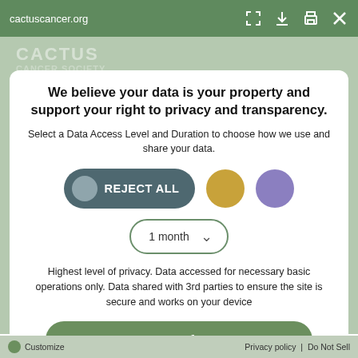cactuscancer.org
We believe your data is your property and support your right to privacy and transparency.
Select a Data Access Level and Duration to choose how we use and share your data.
[Figure (screenshot): Privacy consent modal with REJECT ALL toggle button, two option circles (gold and purple), a 1-month duration dropdown, and a Save my preferences button]
Highest level of privacy. Data accessed for necessary basic operations only. Data shared with 3rd parties to ensure the site is secure and works on your device
Customize   Privacy policy  |  Do Not Sell